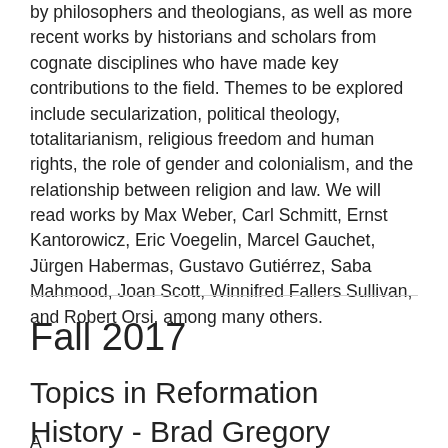by philosophers and theologians, as well as more recent works by historians and scholars from cognate disciplines who have made key contributions to the field. Themes to be explored include secularization, political theology, totalitarianism, religious freedom and human rights, the role of gender and colonialism, and the relationship between religion and law. We will read works by Max Weber, Carl Schmitt, Ernst Kantorowicz, Eric Voegelin, Marcel Gauchet, Jürgen Habermas, Gustavo Gutiérrez, Saba Mahmood, Joan Scott, Winnifred Fallers Sullivan, and Robert Orsi, among many others.
Fall 2017
Topics in Reformation History - Brad Gregory
A ellipsis continuation text beginning...